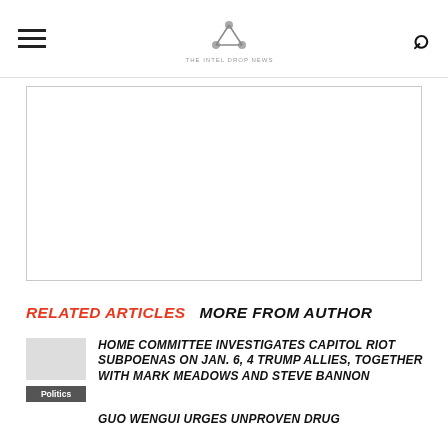THE INTEL DROP [logo/site name]
[Figure (other): Advertisement placeholder box with border]
RELATED ARTICLES   MORE FROM AUTHOR
HOME COMMITTEE INVESTIGATES CAPITOL RIOT SUBPOENAS ON JAN. 6, 4 TRUMP ALLIES, TOGETHER WITH MARK MEADOWS AND STEVE BANNON
GUO WENGUI URGES UNPROVEN DRUG